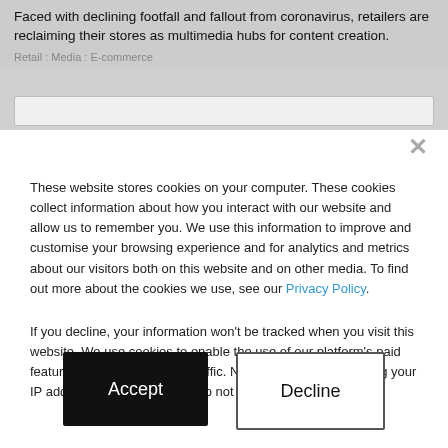Faced with declining footfall and fallout from coronavirus, retailers are reclaiming their stores as multimedia hubs for content creation.
Retail : Media : E-commerce
These website stores cookies on your computer. These cookies collect information about how you interact with our website and allow us to remember you. We use this information to improve and customise your browsing experience and for analytics and metrics about our visitors both on this website and on other media. To find out more about the cookies we use, see our Privacy Policy.
If you decline, your information won't be tracked when you visit this website. We use cookies to enable the use of our platform's paid features and to analyse our traffic. No personal data, including your IP address, is stored and we do not sell data to third parties.